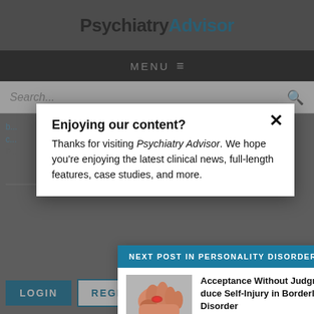PsychiatryAdvisor
MENU
Search...
Enjoying our content?
Thanks for visiting Psychiatry Advisor. We hope you're enjoying the latest clinical news, full-length features, case studies, and more.
NEXT POST IN PERSONALITY DISORDERS
Acceptance Without Judgment Helps Reduce Self-Injury in Borderline Personality Disorder
LOGIN
REGISTER